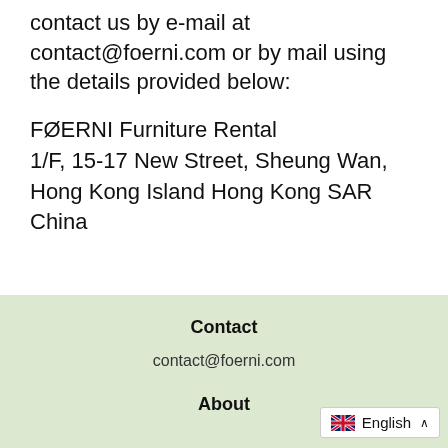contact us by e-mail at contact@foerni.com or by mail using the details provided below:
FØERNI Furniture Rental
1/F, 15-17 New Street, Sheung Wan, Hong Kong Island Hong Kong SAR China
Contact
contact@foerni.com
About